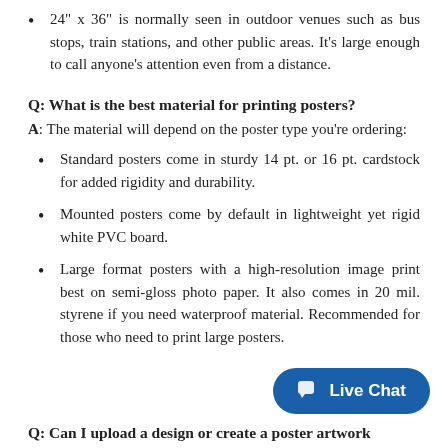24" x 36" is normally seen in outdoor venues such as bus stops, train stations, and other public areas. It's large enough to call anyone's attention even from a distance.
Q: What is the best material for printing posters?
A: The material will depend on the poster type you're ordering:
Standard posters come in sturdy 14 pt. or 16 pt. cardstock for added rigidity and durability.
Mounted posters come by default in lightweight yet rigid white PVC board.
Large format posters with a high-resolution image print best on semi-gloss photo paper. It also comes in 20 mil. styrene if you need waterproof material. Recommended for those who need to print large posters.
Q: Can I upload a design or create a poster artwork